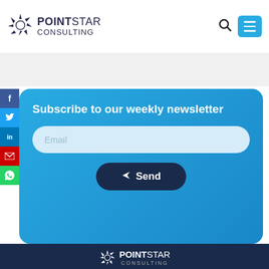[Figure (logo): PointStar Consulting logo with star icon on white header background]
[Figure (infographic): Social media sidebar buttons: Facebook, Twitter, LinkedIn, Email, WhatsApp]
Subscribe to our weekly newsletter
Email input field placeholder
Send button
[Figure (logo): PointStar Consulting white logo on dark navy footer background]